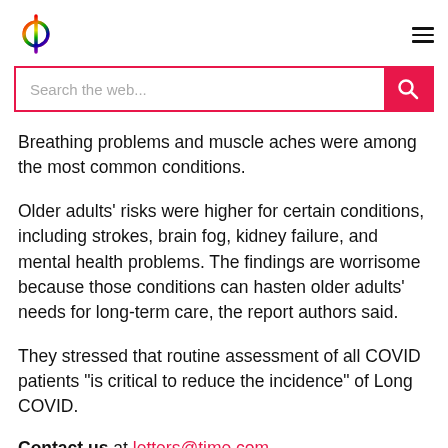[Logo and navigation bar with search field]
Breathing problems and muscle aches were among the most common conditions.
Older adults’ risks were higher for certain conditions, including strokes, brain fog, kidney failure, and mental health problems. The findings are worrisome because those conditions can hasten older adults’ needs for long-term care, the report authors said.
They stressed that routine assessment of all COVID patients “is critical to reduce the incidence” of Long COVID.
Contact us at letters@time.com.